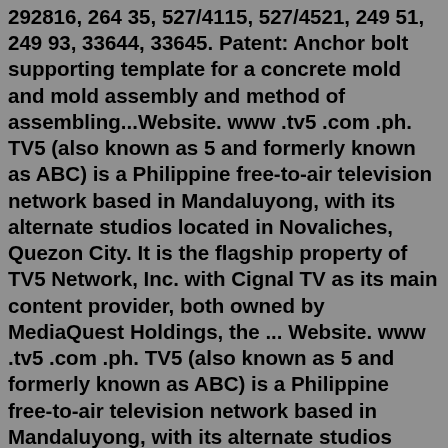292816, 264 35, 527/4115, 527/4521, 249 51, 249 93, 33644, 33645. Patent: Anchor bolt supporting template for a concrete mold and mold assembly and method of assembling...Website. www .tv5 .com .ph. TV5 (also known as 5 and formerly known as ABC) is a Philippine free-to-air television network based in Mandaluyong, with its alternate studios located in Novaliches, Quezon City. It is the flagship property of TV5 Network, Inc. with Cignal TV as its main content provider, both owned by MediaQuest Holdings, the ... Website. www .tv5 .com .ph. TV5 (also known as 5 and formerly known as ABC) is a Philippine free-to-air television network based in Mandaluyong, with its alternate studios located in Novaliches, Quezon City. It is the flagship property of TV5 Network, Inc. with Cignal TV as its main content provider, both owned by MediaQuest Holdings, the ... Lottie Dod (1871 - 1960) (England, tennis, archery, golf) Five times Wimbledon singles champion Sagarika Ghose is an Indian journalist, news anchor and author Here is a list of female BBC News presenters and reporters who